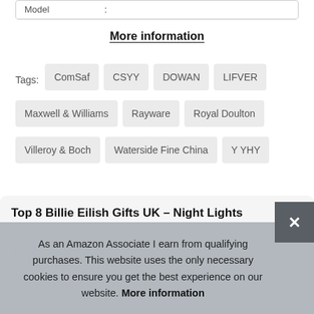| Model | : |
| --- | --- |
More information
Tags: ComSaf  CSYY  DOWAN  LIFVER  Maxwell & Williams  Rayware  Royal Doulton  Villeroy & Boch  Waterside Fine China  Y YHY
Top 8 Billie Eilish Gifts UK – Night Lights
As an Amazon Associate I earn from qualifying purchases. This website uses the only necessary cookies to ensure you get the best experience on our website. More information